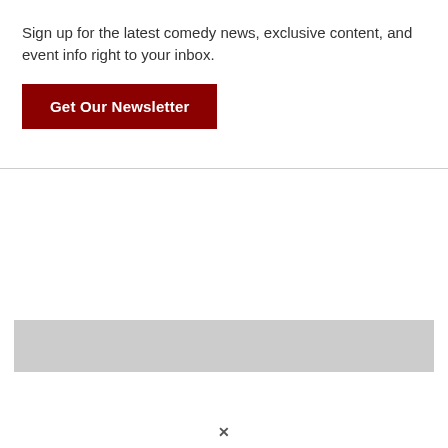×
Sign up for the latest comedy news, exclusive content, and event info right to your inbox.
Get Our Newsletter
[Figure (other): Light gray horizontal bar placeholder/advertisement area]
×